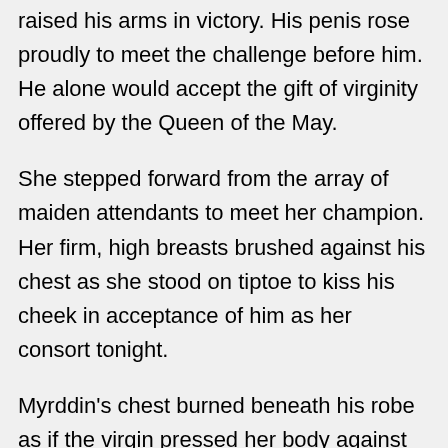raised his arms in victory. His penis rose proudly to meet the challenge before him. He alone would accept the gift of virginity offered by the Queen of the May.
She stepped forward from the array of maiden attendants to meet her champion. Her firm, high breasts brushed against his chest as she stood on tiptoe to kiss his cheek in acceptance of him as her consort tonight.
Myrddin's chest burned beneath his robe as if the virgin pressed her body against him and not the local champion. The Queen of the May trembled in excitement. Moisture slicked her brow and the pale hair between her thighs. The throb in Myrddin's groin intensified. The last rays of the setting sun gave the girl's smooth, dewy skin a lovely blush. Myrddin held